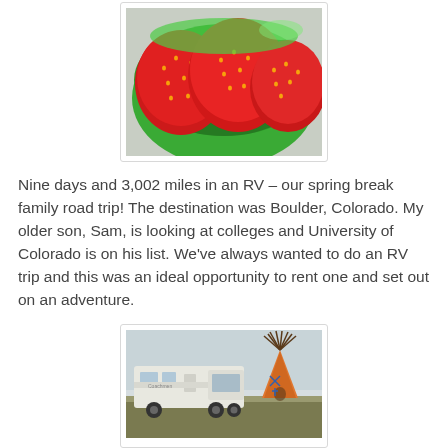[Figure (photo): Close-up photograph of fresh red strawberries in a bright green bowl, top-down view]
Nine days and 3,002 miles in an RV – our spring break family road trip! The destination was Boulder, Colorado. My older son, Sam, is looking at colleges and University of Colorado is on his list. We've always wanted to do an RV trip and this was an ideal opportunity to rent one and set out on an adventure.
[Figure (photo): Photograph of an RV (recreational vehicle) parked on flat terrain with a teepee structure visible beside it, under a light sky]